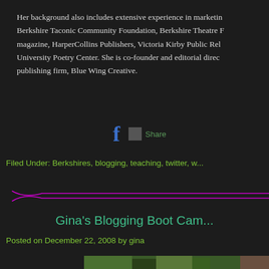Her background also includes extensive experience in marketing at Berkshire Taconic Community Foundation, Berkshire Theatre Festival, magazine, HarperCollins Publishers, Victoria Kirby Public Relations, University Poetry Center. She is co-founder and editorial director of publishing firm, Blue Wing Creative.
[Figure (other): Facebook share button with icon and Share text]
Filed Under: Berkshires, blogging, teaching, twitter, w...
[Figure (other): Decorative pink/magenta curved divider lines]
Gina's Blogging Boot Camp
Posted on December 22, 2008 by gina
[Figure (photo): Partial photo of tropical/lush green vegetation with a building visible on the right]